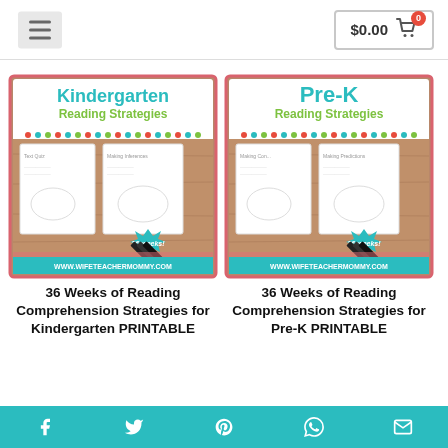$0.00 cart
[Figure (illustration): Product thumbnail for Kindergarten Reading Strategies - 36 weeks printable workbook cover with colorful header, worksheet pages shown, 36 weeks star burst, www.wifeteachermommy.com]
36 Weeks of Reading Comprehension Strategies for Kindergarten PRINTABLE
[Figure (illustration): Product thumbnail for Pre-K Reading Strategies - 36 weeks printable workbook cover with colorful header, worksheet pages shown, 36 weeks star burst, www.wifeteachermommy.com]
36 Weeks of Reading Comprehension Strategies for Pre-K PRINTABLE
1 review
Social share icons: Facebook, Twitter, Pinterest, WhatsApp, Email